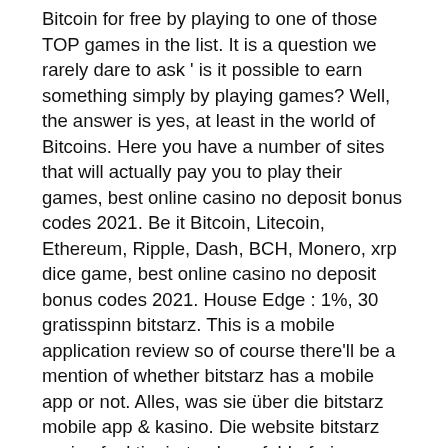Bitcoin for free by playing to one of those TOP games in the list. It is a question we rarely dare to ask ' is it possible to earn something simply by playing games? Well, the answer is yes, at least in the world of Bitcoins. Here you have a number of sites that will actually pay you to play their games, best online casino no deposit bonus codes 2021. Be it Bitcoin, Litecoin, Ethereum, Ripple, Dash, BCH, Monero, xrp dice game, best online casino no deposit bonus codes 2021. House Edge : 1%, 30 gratisspinn bitstarz. This is a mobile application review so of course there'll be a mention of whether bitstarz has a mobile app or not. Alles, was sie über die bitstarz mobile app &amp; kasino. Die website bitstarz casino funktioniert nahezu fehlerfrei, unabhängig davon,. While there's no dedicated bitstarz casino mobile app, the website looks good on different devices and fits various screen sizes. The mobile version of. Oder tablet und